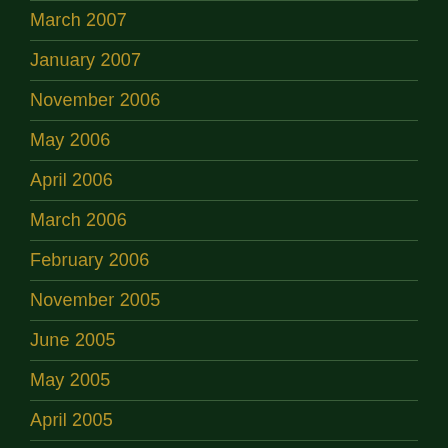March 2007
January 2007
November 2006
May 2006
April 2006
March 2006
February 2006
November 2005
June 2005
May 2005
April 2005
January 2005
December 2004
November 2004
September 2004
August 2004